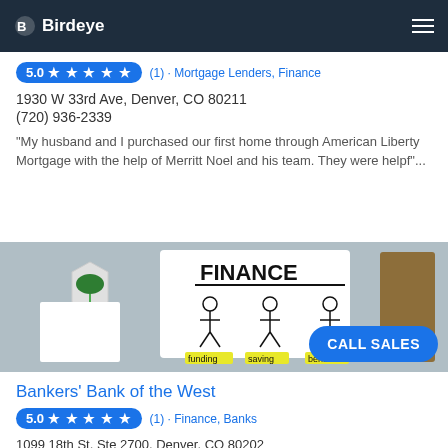Birdeye
5.0 ★★★★★ (1) · Mortgage Lenders, Finance
1930 W 33rd Ave, Denver, CO 80211
(720) 936-2339
"My husband and I purchased our first home through American Liberty Mortgage with the help of Merritt Noel and his team. They were helpf"...
[Figure (photo): Finance themed desk photo showing a whiteboard with 'FINANCE' written on it, stick figures labeled funding, saving, benefit, a small plant, and a brown book. Blue 'CALL SALES' button overlaid at bottom right.]
Bankers' Bank of the West
5.0 ★★★★★ (1) · Finance, Banks
1099 18th St, Ste 2700, Denver, CO 80202